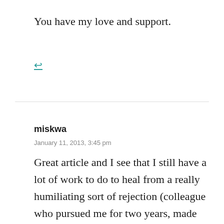You have my love and support.
[Figure (other): Reply arrow icon with underline in teal color]
miskwa
January 11, 2013, 3:45 pm
Great article and I see that I still have a lot of work to do to heal from a really humiliating sort of rejection (colleague who pursued me for two years, made all the noises about how alone he was, was